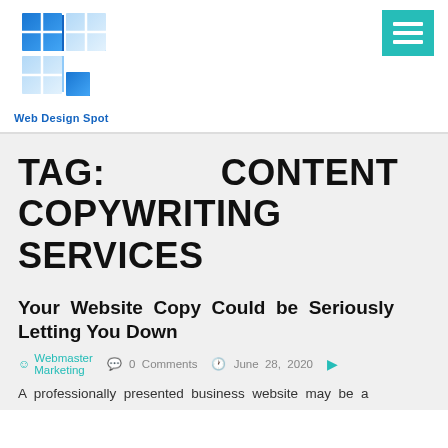[Figure (logo): Web Design Spot logo with blue grid/window panes icon and text 'Web Design Spot' in blue below]
TAG: CONTENT AND COPYWRITING SERVICES
Your Website Copy Could be Seriously Letting You Down
Webmaster Marketing   0 Comments   June 28, 2020
A professionally presented business website may be a